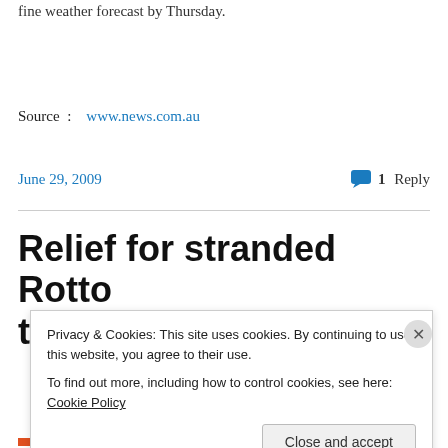fine weather forecast by Thursday.
Source  :   www.news.com.au
June 29, 2009
1 Reply
Relief for stranded Rotto travellers
Privacy & Cookies: This site uses cookies. By continuing to use this website, you agree to their use.
To find out more, including how to control cookies, see here: Cookie Policy